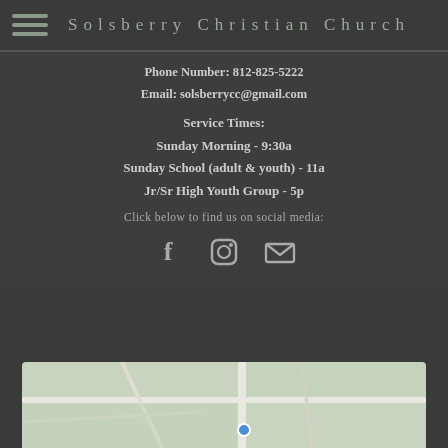Solsberry Christian Church
Phone Number: 812-825-5222
Email: solsberrycc@gmail.com
Service Times:
Sunday Morning - 9:30a
Sunday School (adult & youth) - 11a
Jr/Sr High Youth Group - 5p
Click below to find us on social media:
[Figure (infographic): Social media icons: Facebook (F), Instagram (camera), and email (envelope)]
[Figure (map): Partial map showing roads, appears to be a Google Maps embed showing local area]